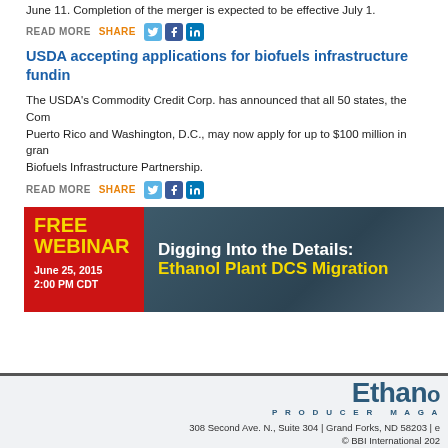June 11. Completion of the merger is expected to be effective July 1.
READ MORE   SHARE
USDA accepting applications for biofuels infrastructure funding
The USDA’s Commodity Credit Corp. has announced that all 50 states, the Commonwealth of Puerto Rico and Washington, D.C., may now apply for up to $100 million in grants through the Biofuels Infrastructure Partnership.
READ MORE   SHARE
[Figure (infographic): Advertisement banner: FREE WEBINAR June 25, 2015 2:00 PM CDT - Digging Into the Details: Ethanol Plant DCS Migration]
Ethanol Producer Magazine | 308 Second Ave. N., Suite 304 | Grand Forks, ND 58203 | © BBI International 2023